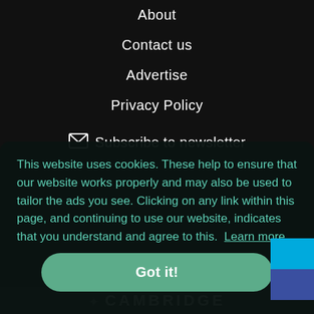About
Contact us
Advertise
Privacy Policy
Subscribe to newsletter
This website uses cookies. These help to ensure that our website works properly and may also be used to tailor the ads you see. Clicking on any link within this page, and continuing to use our website, indicates that you understand and agree to this. Learn more
Got it!
CAMBRIDGE